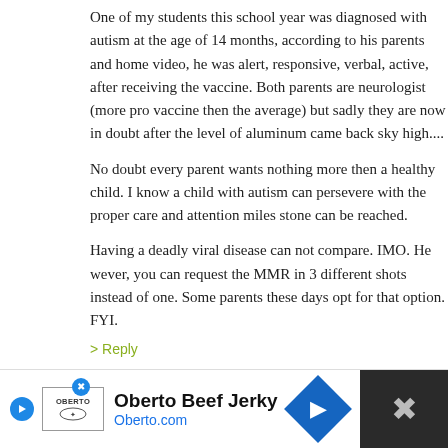One of my students this school year was diagnosed with autism at the age of 14 months, according to his parents and home video, he was alert, responsive, verbal, active, after receiving the vaccine. Both parents are neurologist (more pro vaccine then the average) but sadly they are now in doubt after the level of aluminum came back sky high....
No doubt every parent wants nothing more then a healthy child. I know a child with autism can persevere with the proper care and attention miles stone can be reached.
Having a deadly viral disease can not compare. IMO. However, you can request the MMR in 3 different shots instead of one. Some parents these days opt for that option. FYI.
> Reply
95. Kathy says:
FEBRUARY 8TH, 2010 AT 10:06 AM
My daughter had all her vax and is typical. My son had autism. We don't attribute it to MMR, as we noticed symptoms
[Figure (other): Advertisement banner for Oberto Beef Jerky with logo, text, and navigation arrow button]